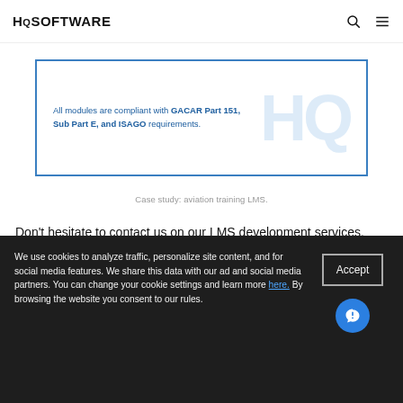HQ SOFTWARE
[Figure (screenshot): Screenshot of an aviation training LMS interface showing text: All modules are compliant with GACAR Part 151, Sub Part E, and ISAGO requirements. HQ watermark logo visible in the background.]
Case study: aviation training LMS.
Don't hesitate to contact us on our LMS development services. Feel free to drop a line and we will be happy to help you!
We use cookies to analyze traffic, personalize site content, and for social media features. We share this data with our ad and social media partners. You can change your cookie settings and learn more here. By browsing the website you consent to our rules.